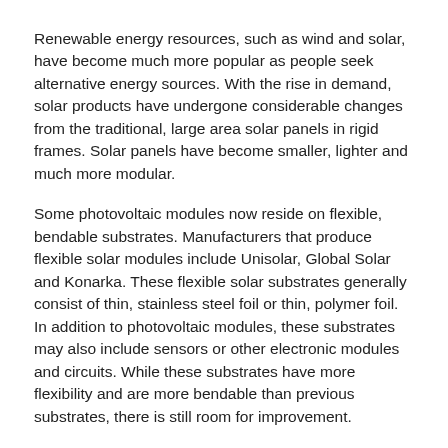Renewable energy resources, such as wind and solar, have become much more popular as people seek alternative energy sources. With the rise in demand, solar products have undergone considerable changes from the traditional, large area solar panels in rigid frames. Solar panels have become smaller, lighter and much more modular.
Some photovoltaic modules now reside on flexible, bendable substrates. Manufacturers that produce flexible solar modules include Unisolar, Global Solar and Konarka. These flexible solar substrates generally consist of thin, stainless steel foil or thin, polymer foil. In addition to photovoltaic modules, these substrates may also include sensors or other electronic modules and circuits. While these substrates have more flexibility and are more bendable than previous substrates, there is still room for improvement.
Some efforts have concentrated on bending more traditional substrates by selectively cutting or notching the substrates to allow them to conform to more three-dimensional shapes. Examples of this approach include